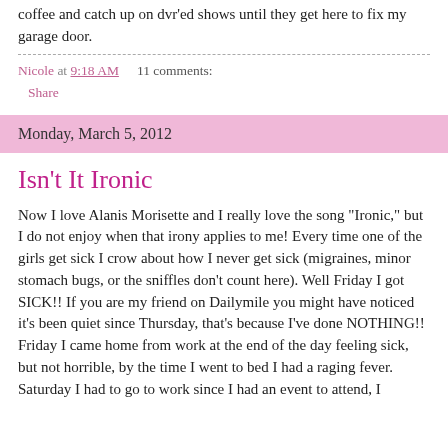coffee and catch up on dvr'ed shows until they get here to fix my garage door.
Nicole at 9:18 AM    11 comments:
Share
Monday, March 5, 2012
Isn't It Ironic
Now I love Alanis Morisette and I really love the song "Ironic," but I do not enjoy when that irony applies to me! Every time one of the girls get sick I crow about how I never get sick (migraines, minor stomach bugs, or the sniffles don't count here). Well Friday I got SICK!! If you are my friend on Dailymile you might have noticed it's been quiet since Thursday, that's because I've done NOTHING!! Friday I came home from work at the end of the day feeling sick, but not horrible, by the time I went to bed I had a raging fever. Saturday I had to go to work since I had an event to attend, I